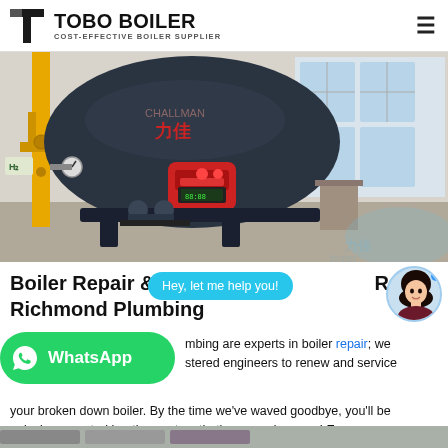TOBO BOILER — COST-EFFECTIVE BOILER SUPPLIER
[Figure (photo): Industrial boiler in a factory/warehouse setting. Large dark cylindrical boiler with red burner attached, yellow gas pipe on left, white industrial building with large windows in background.]
Boiler Repair & [Maintenance] [Services] Richmond Plumbing
Hey, let me help you!
[Richmond Plum]mbing are experts in boiler repair; we [have gas regi]stered engineers to renew and service your broken down boiler. By the time we've waved goodbye, you'll be enjoying a central heating system that's as good as new! Exp…
[Figure (logo): WhatsApp green button with phone icon and WhatsApp text]